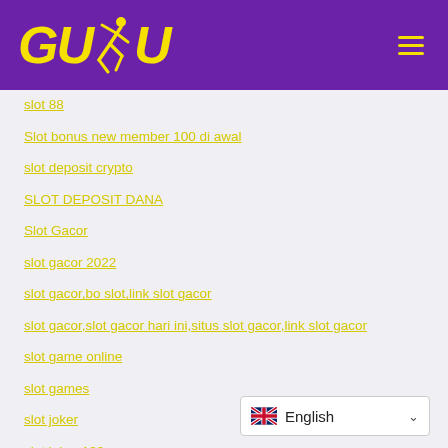[Figure (logo): GUDU logo with yellow bold italic text and a running figure silhouette icon in the middle, on a purple background header bar]
slot 88
Slot bonus new member 100 di awal
slot deposit crypto
SLOT DEPOSIT DANA
Slot Gacor
slot gacor 2022
slot gacor,bo slot,link slot gacor
slot gacor,slot gacor hari ini,situs slot gacor,link slot gacor
slot game online
slot games
slot joker
slot joker 123